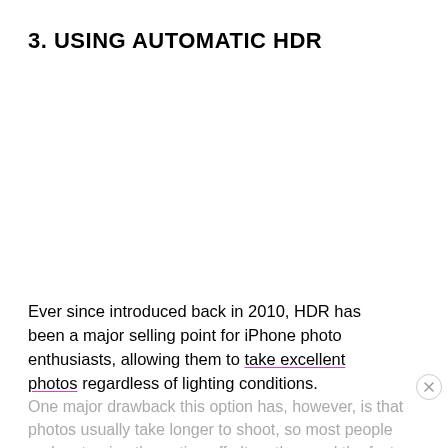3. USING AUTOMATIC HDR
Ever since introduced back in 2010, HDR has been a major selling point for iPhone photo enthusiasts, allowing them to take excellent photos regardless of lighting conditions.
One major drawback this option has, however, is that photos usually take longer to shoot, so most people end up turning the option off altogether, and the fact that some